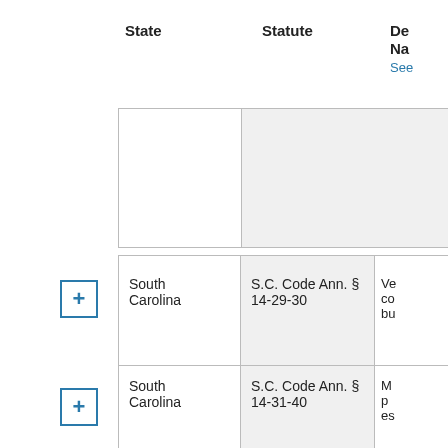| State | Statute | De Na |
| --- | --- | --- |
| South Carolina | S.C. Code Ann. § 14-29-30 | Ve co bu |
| South Carolina | S.C. Code Ann. § 14-31-40 | M p es |